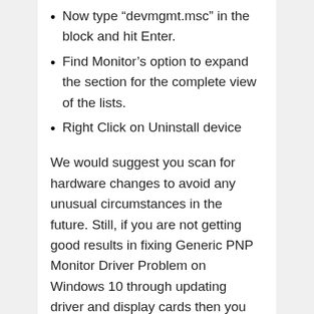Now type “devmgmt.msc” in the block and hit Enter.
Find Monitor’s option to expand the section for the complete view of the lists.
Right Click on Uninstall device
We would suggest you scan for hardware changes to avoid any unusual circumstances in the future. Still, if you are not getting good results in fixing Generic PNP Monitor Driver Problem on Windows 10 through updating driver and display cards then you should definitely visit our ISO River Page.
We hope that you are satisfied with the